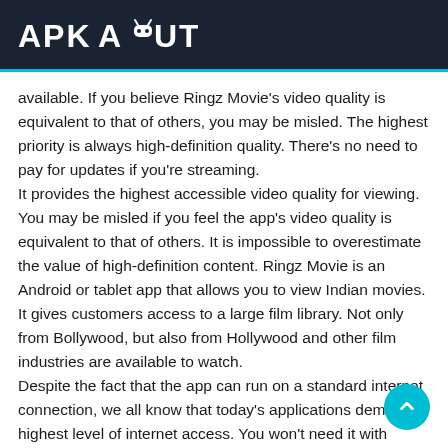APK ABOUT
available. If you believe Ringz Movie’s video quality is equivalent to that of others, you may be misled. The highest priority is always high-definition quality. There’s no need to pay for updates if you’re streaming.
It provides the highest accessible video quality for viewing. You may be misled if you feel the app’s video quality is equivalent to that of others. It is impossible to overestimate the value of high-definition content. Ringz Movie is an Android or tablet app that allows you to view Indian movies. It gives customers access to a large film library. Not only from Bollywood, but also from Hollywood and other film industries are available to watch.
Despite the fact that the app can run on a standard internet connection, we all know that today’s applications demand highest level of internet access. You won’t need it with Ringz